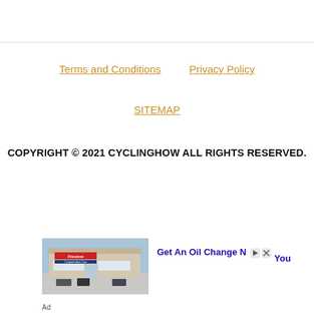Terms and Conditions   Privacy Policy
SITEMAP
COPYRIGHT © 2021 CYCLINGHOW ALL RIGHTS RESERVED.
[Figure (photo): Advertisement showing a Firestone auto service building exterior with text: Get An Oil Change Near You]
Ad